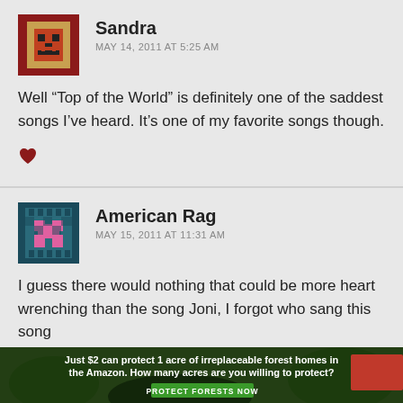[Figure (illustration): Pixel art avatar for Sandra - dark red/brown background with stylized face/character in tan/gold colors]
Sandra
MAY 14, 2011 AT 5:25 AM
Well “Top of the World” is definitely one of the saddest songs I’ve heard. It’s one of my favorite songs though.
[Figure (illustration): Heart icon in dark red]
[Figure (illustration): Pixel art avatar for American Rag - teal/dark teal background with pink/magenta pixel character]
American Rag
MAY 15, 2011 AT 11:31 AM
I guess there would nothing that could be more heart wrenching than the song Joni, I forgot who sang this song
[Figure (photo): Advertisement banner: dark forest background, text reads 'Just $2 can protect 1 acre of irreplaceable forest homes in the Amazon. How many acres are you willing to protect?' with green 'PROTECT FORESTS NOW' button]